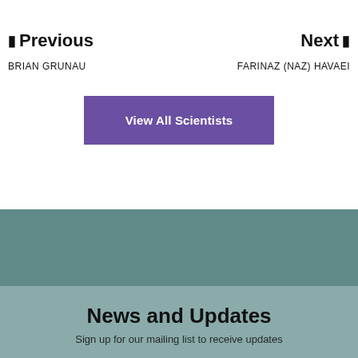Previous
Next
BRIAN GRUNAU
FARINAZ (NAZ) HAVAEI
View All Scientists
News and Updates
Sign up for our mailing list to receive updates